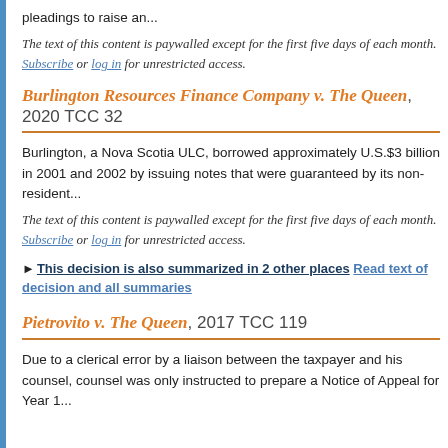pleadings to raise an...
The text of this content is paywalled except for the first five days of each month. Subscribe or log in for unrestricted access.
Burlington Resources Finance Company v. The Queen, 2020 TCC 32
Burlington, a Nova Scotia ULC, borrowed approximately U.S.$3 billion in 2001 and 2002 by issuing notes that were guaranteed by its non-resident...
The text of this content is paywalled except for the first five days of each month. Subscribe or log in for unrestricted access.
▶ This decision is also summarized in 2 other places Read text of decision and all summaries
Pietrovito v. The Queen, 2017 TCC 119
Due to a clerical error by a liaison between the taxpayer and his counsel, counsel was only instructed to prepare a Notice of Appeal for Year 1...